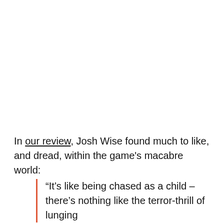In our review, Josh Wise found much to like, and dread, within the game's macabre world:
“It’s like being chased as a child – there’s nothing like the terror-thrill of lunging